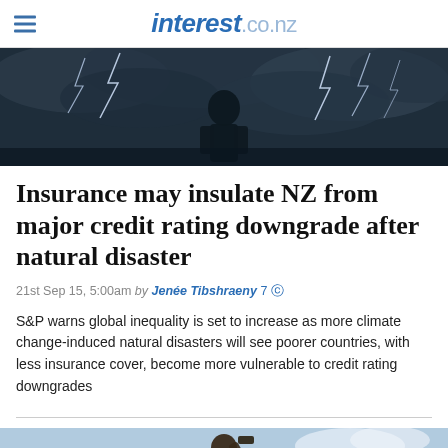interest.co.nz
[Figure (photo): Dark stormy sky with lightning bolts, person silhouette in center]
Insurance may insulate NZ from major credit rating downgrade after natural disaster
21st Sep 15, 5:00am by Jenée Tibshraeny 7
S&P warns global inequality is set to increase as more climate change-induced natural disasters will see poorer countries, with less insurance cover, become more vulnerable to credit rating downgrades
[Figure (photo): Person working outdoors, possibly construction or repair work, against blue sky]